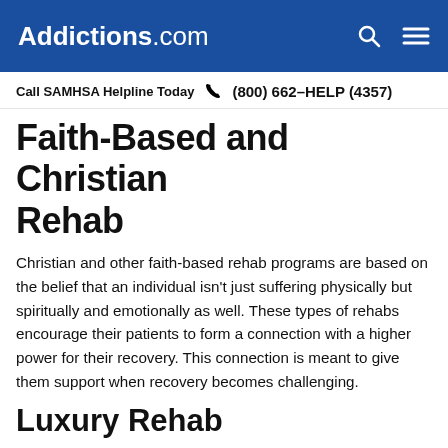Addictions.com
Call SAMHSA Helpline Today  (800) 662-HELP (4357)
Faith-Based and Christian Rehab
Christian and other faith-based rehab programs are based on the belief that an individual isn't just suffering physically but spiritually and emotionally as well. These types of rehabs encourage their patients to form a connection with a higher power for their recovery. This connection is meant to give them support when recovery becomes challenging.
Luxury Rehab
Luxury rehab centers can offer different f…